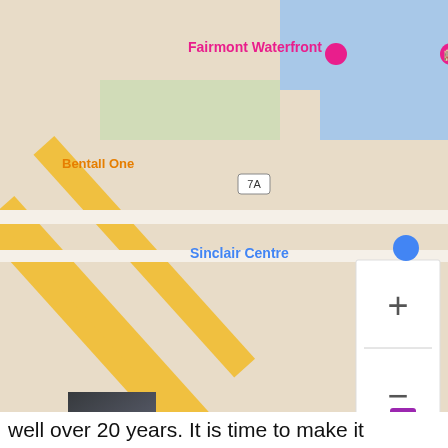[Figure (map): Google Maps screenshot showing Vancouver waterfront area with landmarks: Fairmont Waterfront, Miku Vancouver, Bentall One, Sinclair Centre, Waterfront transit stations, Seabus South Lot, Steamworks. Map has + and - zoom controls visible on right side. Google logo and Terms of Use visible at bottom.]
We use cookies on our website to give you the most relevant experience by remembering your preferences and repeat visits. By clicking “Accept”, you consent to the use of ALL the cookies.
Cookie settings
ACCEPT
well over 20 years. It is time to make it